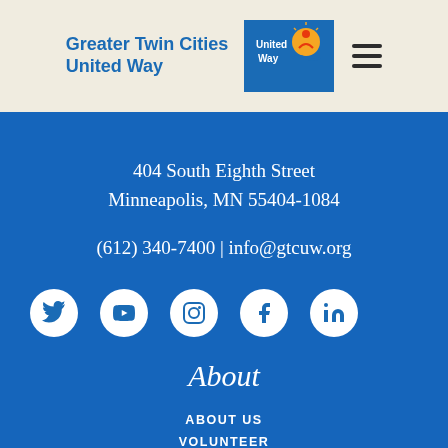Greater Twin Cities United Way
404 South Eighth Street
Minneapolis, MN 55404-1084
(612) 340-7400 | info@gtcuw.org
[Figure (illustration): Social media icons: Twitter, YouTube, Instagram, Facebook, LinkedIn]
About
ABOUT US
VOLUNTEER
DONATE